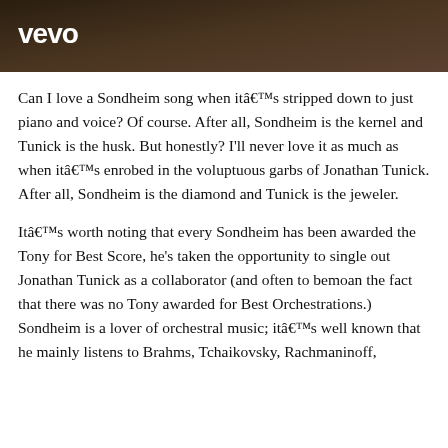vevo
Can I love a Sondheim song when itâ€™s stripped down to just piano and voice? Of course. After all, Sondheim is the kernel and Tunick is the husk. But honestly? I'll never love it as much as when itâ€™s enrobed in the voluptuous garbs of Jonathan Tunick. After all, Sondheim is the diamond and Tunick is the jeweler.
Itâ€™s worth noting that every Sondheim has been awarded the Tony for Best Score, he's taken the opportunity to single out Jonathan Tunick as a collaborator (and often to bemoan the fact that there was no Tony awarded for Best Orchestrations.) Sondheim is a lover of orchestral music; itâ€™s well known that he mainly listens to Brahms, Tchaikovsky, Rachmaninoff,